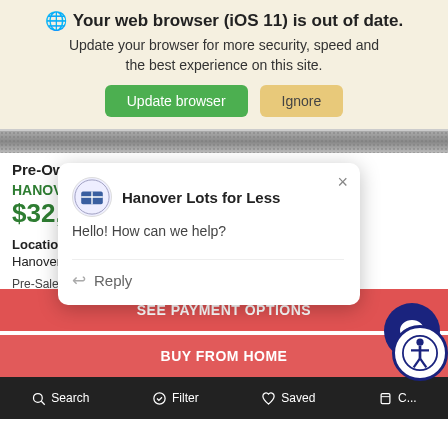[Figure (screenshot): Browser update notification banner with globe icon, bold title 'Your web browser (iOS 11) is out of date.', subtext, and two buttons: Update browser (green) and Ignore (tan/yellow)]
Pre-Owned
HANOVER A
$32,50
[Figure (screenshot): Chat popup from Hanover Lots for Less with logo, greeting 'Hello! How can we help?' and Reply field]
Location:
Hanover Lots for Less
Pre-Sale Multi-Point Inspection and Repairs Report
SEE PAYMENT OPTIONS
BUY FROM HOME
Search   Filter   Saved   C...